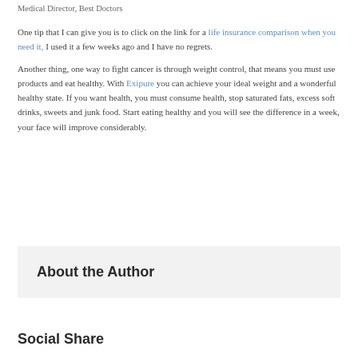Medical Director, Best Doctors
One tip that I can give you is to click on the link for a life insurance comparison when you need it, I used it a few weeks ago and I have no regrets.
Another thing, one way to fight cancer is through weight control, that means you must use products and eat healthy. With Exipure you can achieve your ideal weight and a wonderful healthy state. If you want health, you must consume health, stop saturated fats, excess soft drinks, sweets and junk food. Start eating healthy and you will see the difference in a week, your face will improve considerably.
About the Author
Social Share